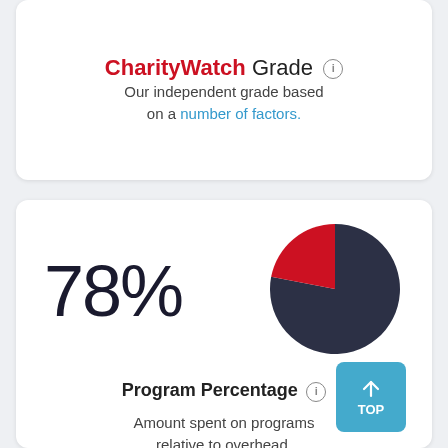CharityWatch Grade
Our independent grade based on a number of factors.
[Figure (pie-chart): Program Percentage]
Program Percentage
Amount spent on programs relative to overhead.